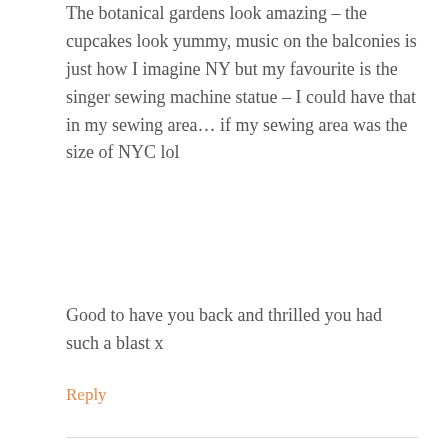The botanical gardens look amazing – the cupcakes look yummy, music on the balconies is just how I imagine NY but my favourite is the singer sewing machine statue – I could have that in my sewing area… if my sewing area was the size of NYC lol
Good to have you back and thrilled you had such a blast x
Reply
STACI
NOVEMBER 24, 2010 AT 6:59 PM
[Figure (photo): Avatar image for Staci showing a colorful monogram logo with letters SBL in pink on a floral/colorful background]
how funny. some of your photos are the same as mine. i wont get to go through mine until tomorrow though 😕 i'm glad you had a good time and sorry about the